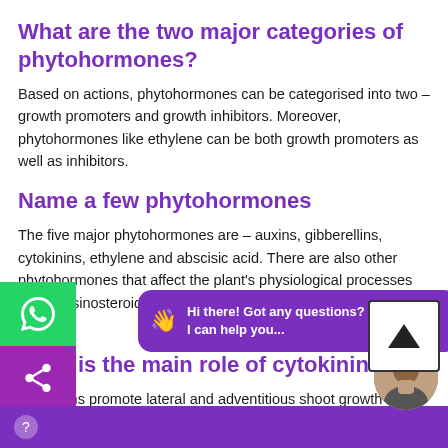What are the two major categories of phytohormones?
Based on actions, phytohormones can be categorised into two – growth promoters and growth inhibitors. Moreover, phytohormones like ethylene can be both growth promoters as well as inhibitors.
Name a few phytohormones
The five major phytohormones are – auxins, gibberellins, cytokinins, ethylene and abscisic acid. There are also other phytohormones that affect the plant's physiological processes like brassinosteroids, salicylates, jasmonates, strigolactones, etc.
What is the main role of cytokinins?
Cytokinins promote lateral and adventitious shoot growth and are used to initiate shoot growth in culture and also help in overcoming apical dominance induced by auxins.